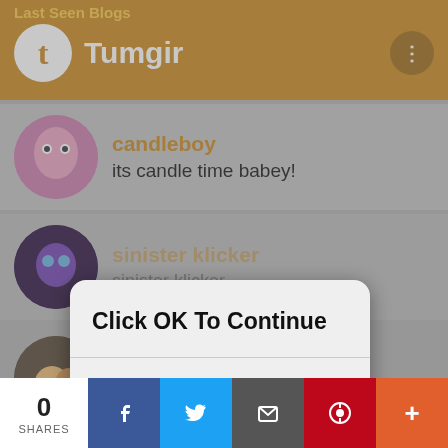Last Seen Blogs
Tumgir
candleboy
its candle time babey!
sinister klicker
[Figure (screenshot): iOS-style dialog box overlay with text 'Click OK To Continue' and an OK button]
evanrodriguez
The Oliver & Cyrus Shrine
monyte (partial)
0 SHARES | Facebook | Twitter | Mail | Pinterest | More